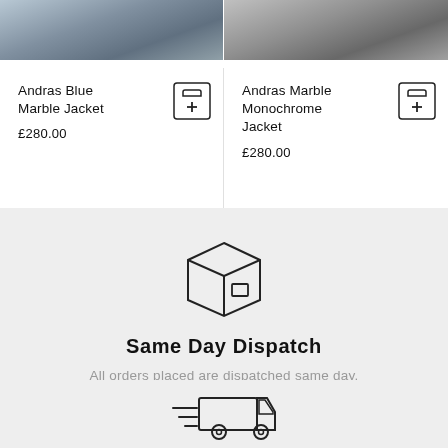[Figure (photo): Two product images side by side at the top of the page showing jacket products]
Andras Blue Marble Jacket
£280.00
Andras Marble Monochrome Jacket
£280.00
[Figure (illustration): Package/box icon outline illustration]
Same Day Dispatch
All orders placed are dispatched same day.
[Figure (illustration): Delivery truck icon with speed lines illustration]